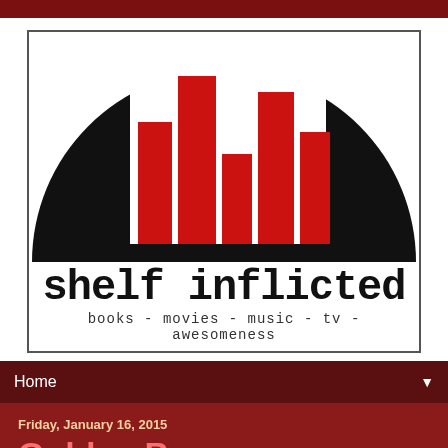[Figure (logo): Shelf Inflicted logo: a black semicircle with red bar chart/books silhouette above a white banner reading 'shelf inflicted' and 'books - movies - music - tv - awesomeness']
Home ▼
Friday, January 16, 2015
Golden Boy